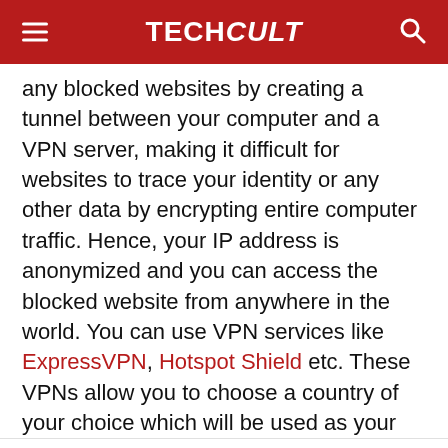TECHCult
any blocked websites by creating a tunnel between your computer and a VPN server, making it difficult for websites to trace your identity or any other data by encrypting entire computer traffic. Hence, your IP address is anonymized and you can access the blocked website from anywhere in the world. You can use VPN services like ExpressVPN, Hotspot Shield etc. These VPNs allow you to choose a country of your choice which will be used as your fake location, which allows you to use the location-based sites and services.